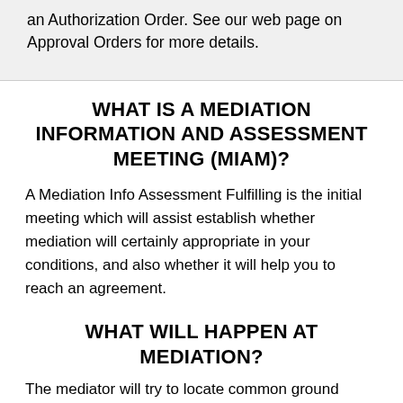an Authorization Order. See our web page on Approval Orders for more details.
WHAT IS A MEDIATION INFORMATION AND ASSESSMENT MEETING (MIAM)?
A Mediation Info Assessment Fulfilling is the initial meeting which will assist establish whether mediation will certainly appropriate in your conditions, and also whether it will help you to reach an agreement.
WHAT WILL HAPPEN AT MEDIATION?
The mediator will try to locate common ground